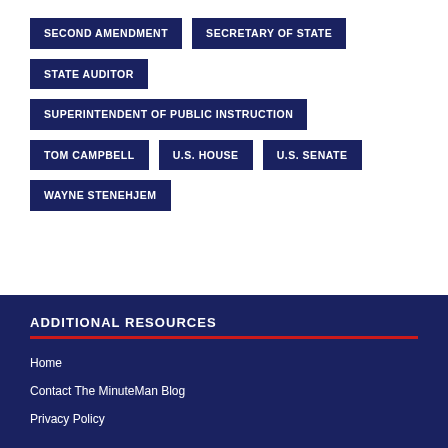SECOND AMENDMENT
SECRETARY OF STATE
STATE AUDITOR
SUPERINTENDENT OF PUBLIC INSTRUCTION
TOM CAMPBELL
U.S. HOUSE
U.S. SENATE
WAYNE STENEHJEM
ADDITIONAL RESOURCES
Home
Contact The MinuteMan Blog
Privacy Policy